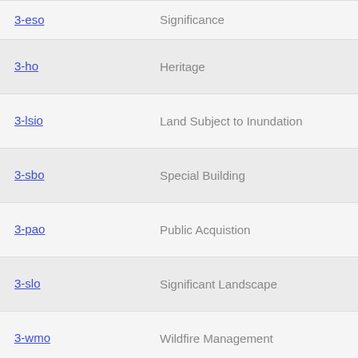| Code | Description | Size |
| --- | --- | --- |
| 3-eso | Significance | MB |
| 3-ho | Heritage | 0.42 MB |
| 3-lsio | Land Subject to Inundation | 0.26 MB |
| 3-sbo | Special Building | 0.23 MB |
| 3-pao | Public Acquistion | 0.41 MB |
| 3-slo | Significant Landscape | 0.41 MB |
| 3-wmo | Wildfire Management | 0.24 MB |